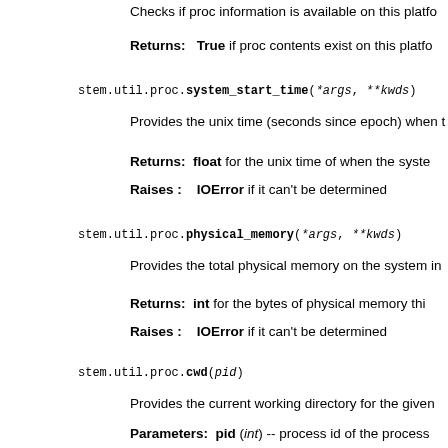Checks if proc information is available on this platform
Returns: True if proc contents exist on this platform
stem.util.proc.system_start_time(*args, **kwds)
Provides the unix time (seconds since epoch) when the system started.
Returns: float for the unix time of when the system started
Raises : IOError if it can't be determined
stem.util.proc.physical_memory(*args, **kwds)
Provides the total physical memory on the system in bytes.
Returns: int for the bytes of physical memory this system has
Raises : IOError if it can't be determined
stem.util.proc.cwd(pid)
Provides the current working directory for the given process.
Parameters: pid (int) -- process id of the process
Returns: str with the path of the working directory
Raises : IOError if it can't be determined